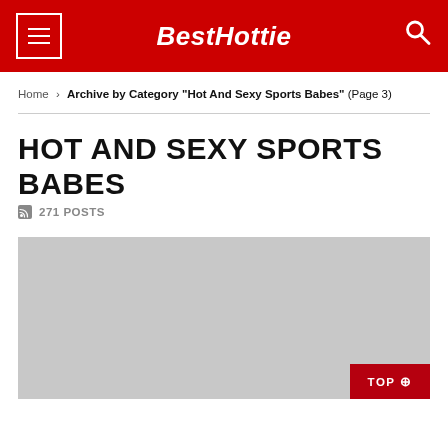BestHottie
Home › Archive by Category "Hot And Sexy Sports Babes" (Page 3)
HOT AND SEXY SPORTS BABES
271 POSTS
[Figure (photo): Gray placeholder image area for a photo post]